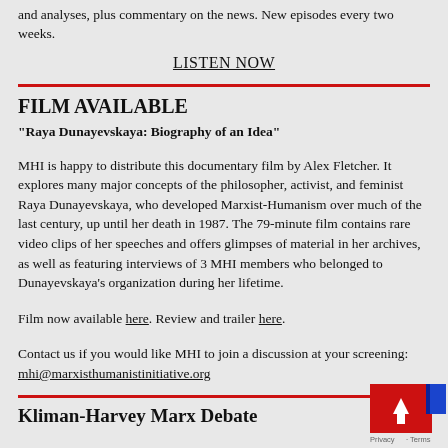and analyses, plus commentary on the news. New episodes every two weeks.
LISTEN NOW
FILM AVAILABLE
“Raya Dunayevskaya: Biography of an Idea”
MHI is happy to distribute this documentary film by Alex Fletcher. It explores many major concepts of the philosopher, activist, and feminist Raya Dunayevskaya, who developed Marxist-Humanism over much of the last century, up until her death in 1987. The 79-minute film contains rare video clips of her speeches and offers glimpses of material in her archives, as well as featuring interviews of 3 MHI members who belonged to Dunayevskaya’s organization during her lifetime.
Film now available here. Review and trailer here.
Contact us if you would like MHI to join a discussion at your screening: mhi@marxisthumanistinitiative.org
Kliman-Harvey Marx Debate